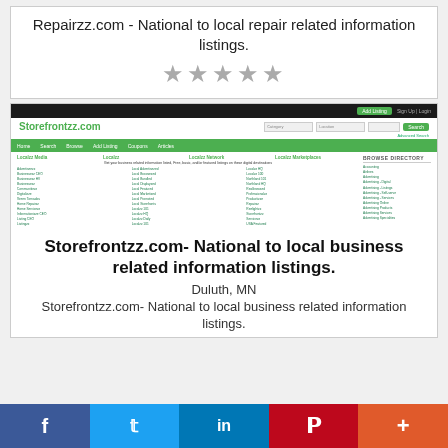Repairzz.com - National to local repair related information listings.
[Figure (screenshot): Screenshot of Storefrontzz.com website showing navigation bar, search fields, green nav menu with Home/Search/Browse/Add Listing/Coupons/Articles, and directory listings for various business categories.]
Storefrontzz.com- National to local business related information listings.
Duluth, MN
Storefrontzz.com- National to local business related information listings.
[Figure (infographic): Social media share bar with Facebook, Twitter, LinkedIn, Pinterest, and plus buttons]